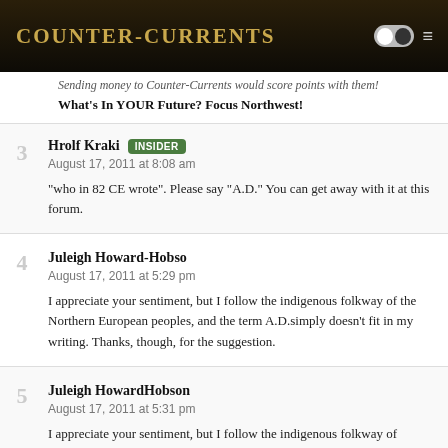Counter-Currents
Sending money to Counter-Currents would score points with them!
What's In YOUR Future? Focus Northwest!
Comment 3 — Hrolf Kraki (INSIDER) — August 17, 2011 at 8:08 am — "who in 82 CE wrote". Please say "A.D." You can get away with it at this forum.
Comment 4 — Juleigh Howard-Hobso — August 17, 2011 at 5:29 pm — I appreciate your sentiment, but I follow the indigenous folkway of the Northern European peoples, and the term A.D.simply doesn't fit in my writing. Thanks, though, for the suggestion.
Comment 5 — Juleigh HowardHobson — August 17, 2011 at 5:31 pm — I appreciate your sentiment, but I follow the indigenous folkway of